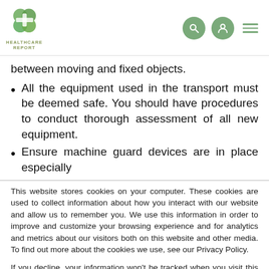HEALTHCARE REPORT
between moving and fixed objects.
All the equipment used in the transport must be deemed safe. You should have procedures to conduct thorough assessment of all new equipment.
Ensure machine guard devices are in place especially
This website stores cookies on your computer. These cookies are used to collect information about how you interact with our website and allow us to remember you. We use this information in order to improve and customize your browsing experience and for analytics and metrics about our visitors both on this website and other media. To find out more about the cookies we use, see our Privacy Policy.
If you decline, your information won't be tracked when you visit this website. A single cookie will be used in your browser to remember your preference not to be tracked.